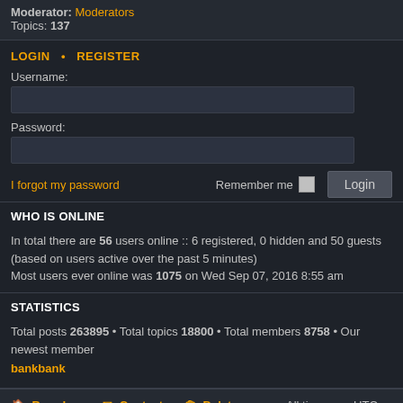Moderator: Moderators
Topics: 137
LOGIN • REGISTER
Username:
Password:
I forgot my password    Remember me  [checkbox]  Login
WHO IS ONLINE
In total there are 56 users online :: 6 registered, 0 hidden and 50 guests (based on users active over the past 5 minutes)
Most users ever online was 1075 on Wed Sep 07, 2016 8:55 am
STATISTICS
Total posts 263895 • Total topics 18800 • Total members 8758 • Our newest member bankbank
Board index   Contact us   Delete cookies   All times are UTC-07:00
Powered by phpBB® Forum Software © phpBB Limited
Prosilver Dark Edition by Premium phpBB Styles
Privacy | Terms